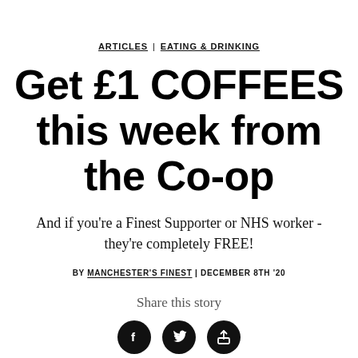ARTICLES | EATING & DRINKING
Get £1 COFFEES this week from the Co-op
And if you're a Finest Supporter or NHS worker - they're completely FREE!
BY MANCHESTER'S FINEST | DECEMBER 8TH '20
Share this story